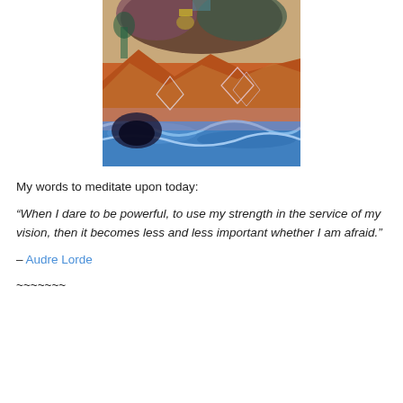[Figure (illustration): Colorful painting/artwork depicting a landscape with swirling blue water at the bottom, orange/red rock formations, trees, and various geometric crystal-like figures overlaid on the scene. Rich mixed colors including purple, teal, orange, red, brown, and blue.]
My words to meditate upon today:
“When I dare to be powerful, to use my strength in the service of my vision, then it becomes less and less important whether I am afraid.”
– Audre Lorde
~~~~~~~